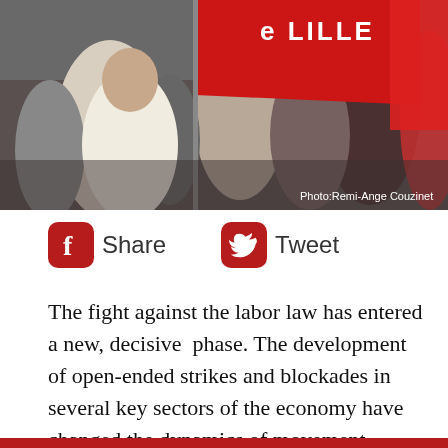[Figure (photo): Protest crowd photo showing people at a labor demonstration, with a red banner reading 'LILLE' visible, and a photo credit 'Photo: Remi-Ange Couzinet' in the bottom right corner.]
Photo:Remi-Ange Couzinet
[Figure (infographic): Social share buttons: Facebook Share and Twitter Tweet, both with red rounded square icons]
The fight against the labor law has entered a new, decisive  phase. The development of open-ended strikes and blockades in several key sectors of the economy have changed the dynamics of movement. Everything is accelerating. After a series of “days of action” in the past two months - to which the government responded with police